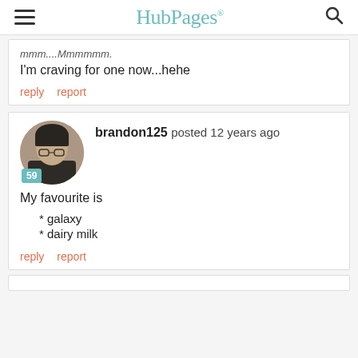HubPages
mmm....Mmmmmm.
I'm craving for one now...hehe
reply   report
brandon125 posted 12 years ago
My favourite is
* galaxy
* dairy milk
reply   report